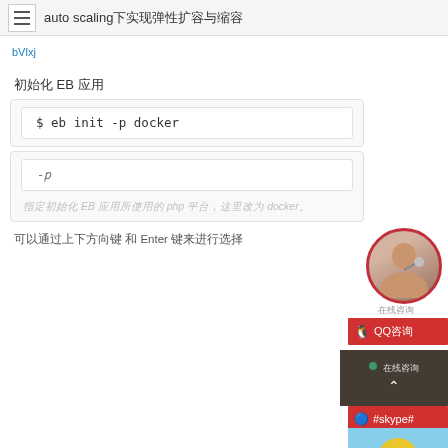auto scaling下实现弹性扩容与缩容
[Figure (screenshot): Broken image placeholder labeled bVlxj]
初始化 EB 应用
$ eb init -p docker
-p
指定初始化 EB 应用所使用的 php 平台，这里改为 docker。
可以通过上下方向键 和 Enter 键来进行选择